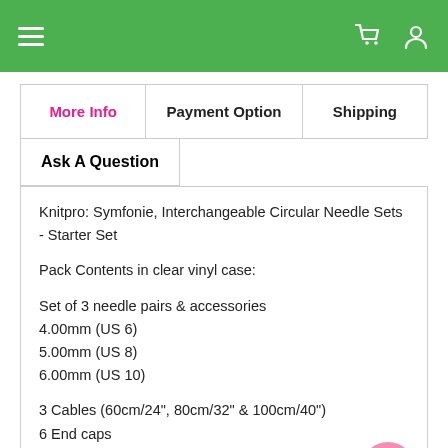Navigation bar with hamburger menu, cart and user icons
| More Info | Payment Option | Shipping |
| --- | --- | --- |
Ask A Question
Knitpro: Symfonie, Interchangeable Circular Needle Sets - Starter Set

Pack Contents in clear vinyl case:

Set of 3 needle pairs & accessories
4.00mm (US 6)
5.00mm (US 8)
6.00mm (US 10)

3 Cables (60cm/24", 80cm/32" & 100cm/40")
6 End caps
3 Cable keys
1 Set of cable connectors